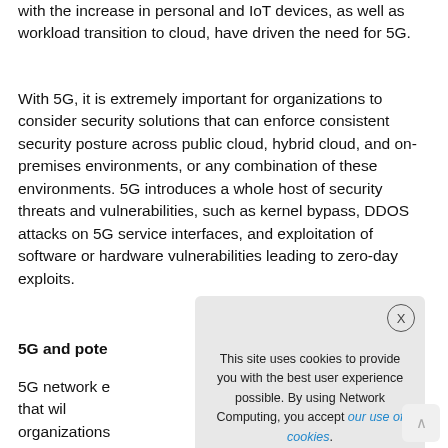with the increase in personal and IoT devices, as well as workload transition to cloud, have driven the need for 5G.
With 5G, it is extremely important for organizations to consider security solutions that can enforce consistent security posture across public cloud, hybrid cloud, and on-premises environments, or any combination of these environments. 5G introduces a whole host of security threats and vulnerabilities, such as kernel bypass, DDOS attacks on 5G service interfaces, and exploitation of software or hardware vulnerabilities leading to zero-day exploits.
5G and pote…
5G network e… various use cases that wil… organizations… ideo analytics, loca… gs (IoT), Augmented R… tent
This site uses cookies to provide you with the best user experience possible. By using Network Computing, you accept our use of cookies.